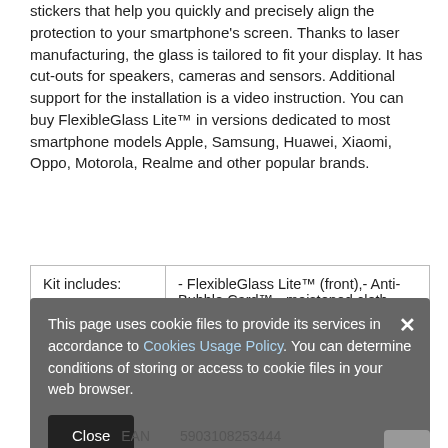stickers that help you quickly and precisely align the protection to your smartphone's screen. Thanks to laser manufacturing, the glass is tailored to fit your display. It has cut-outs for speakers, cameras and sensors. Additional support for the installation is a video instruction. You can buy FlexibleGlass Lite™ in versions dedicated to most smartphone models Apple, Samsung, Huawei, Xiaomi, Oppo, Motorola, Realme and other popular brands.
|  |  |
| --- | --- |
| Kit includes: | - FlexibleGlass Lite™ (front),- Anti-Bubble Card™,- moistened cloth,- dry cloth. |
| Warranty | 24 months |
Brand   3mk Protection
[Figure (screenshot): Cookie consent overlay banner with dark grey background showing text: 'This page uses cookie files to provide its services in accordance to Cookies Usage Policy. You can determine conditions of storing or access to cookie files in your web browser.' with a Close button and X dismiss button.]
EAN   5903108253444